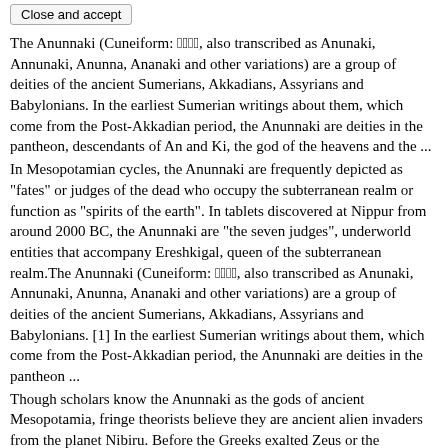Close and accept
The Anunnaki (Cuneiform: 𒀭𒀭𒉣𒈾, also transcribed as Anunaki, Annunaki, Anunna, Ananaki and other variations) are a group of deities of the ancient Sumerians, Akkadians, Assyrians and Babylonians. In the earliest Sumerian writings about them, which come from the Post-Akkadian period, the Anunnaki are deities in the pantheon, descendants of An and Ki, the god of the heavens and the ...
In Mesopotamian cycles, the Anunnaki are frequently depicted as "fates" or judges of the dead who occupy the subterranean realm or function as "spirits of the earth". In tablets discovered at Nippur from around 2000 BC, the Anunnaki are "the seven judges", underworld entities that accompany Ereshkigal, queen of the subterranean realm.The Anunnaki (Cuneiform: 𒀭𒀭𒉣𒈾, also transcribed as Anunaki, Annunaki, Anunna, Ananaki and other variations) are a group of deities of the ancient Sumerians, Akkadians, Assyrians and Babylonians. [1] In the earliest Sumerian writings about them, which come from the Post-Akkadian period, the Anunnaki are deities in the pantheon ...
Though scholars know the Anunnaki as the gods of ancient Mesopotamia, fringe theorists believe they are ancient alien invaders from the planet Nibiru. Before the Greeks exalted Zeus or the Egyptians praised Osiris, the Sumerians worshipped the Anunnaki. These ancient gods of Mesopotamia had wings, wore horned caps, and possessed the ability to ...Askeri celik yelek